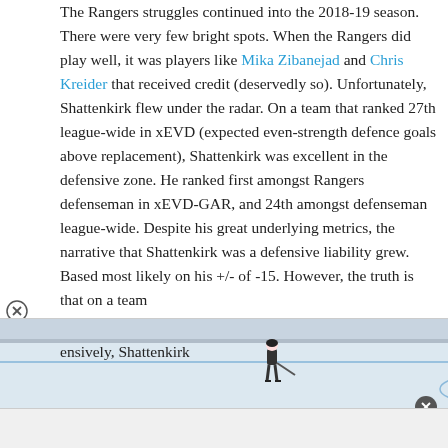The Rangers struggles continued into the 2018-19 season. There were very few bright spots. When the Rangers did play well, it was players like Mika Zibanejad and Chris Kreider that received credit (deservedly so). Unfortunately, Shattenkirk flew under the radar. On a team that ranked 27th league-wide in xEVD (expected even-strength defence goals above replacement), Shattenkirk was excellent in the defensive zone. He ranked first amongst Rangers defenseman in xEVD-GAR, and 24th amongst defenseman league-wide. Despite his great underlying metrics, the narrative that Shattenkirk was a defensive liability grew. Based most likely on his +/- of -15. However, the truth is that on a team that struggled defensively, Shattenkirk
[Figure (photo): Partial hockey rink image with a player visible, overlaid as an ad/media element at the bottom of the page]